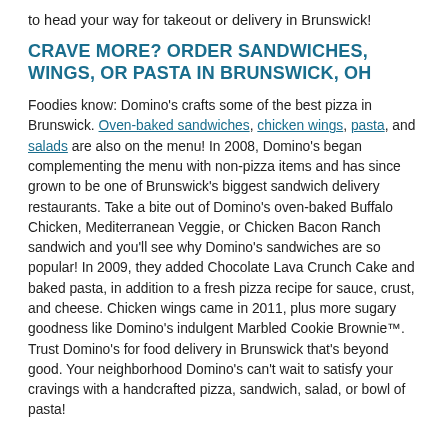to head your way for takeout or delivery in Brunswick!
CRAVE MORE? ORDER SANDWICHES, WINGS, OR PASTA IN BRUNSWICK, OH
Foodies know: Domino's crafts some of the best pizza in Brunswick. Oven-baked sandwiches, chicken wings, pasta, and salads are also on the menu! In 2008, Domino's began complementing the menu with non-pizza items and has since grown to be one of Brunswick's biggest sandwich delivery restaurants. Take a bite out of Domino's oven-baked Buffalo Chicken, Mediterranean Veggie, or Chicken Bacon Ranch sandwich and you'll see why Domino's sandwiches are so popular! In 2009, they added Chocolate Lava Crunch Cake and baked pasta, in addition to a fresh pizza recipe for sauce, crust, and cheese. Chicken wings came in 2011, plus more sugary goodness like Domino's indulgent Marbled Cookie Brownie™. Trust Domino's for food delivery in Brunswick that's beyond good. Your neighborhood Domino's can't wait to satisfy your cravings with a handcrafted pizza, sandwich, salad, or bowl of pasta!